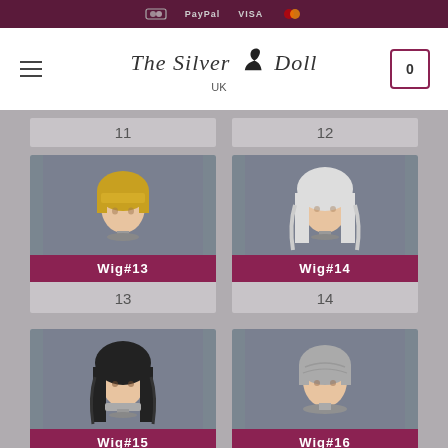The Silver Doll UK — payment icons: PayPal, VISA, Mastercard
[Figure (other): The Silver Doll UK logo with silhouette figure]
11
12
[Figure (photo): Wig#13 — short blonde wig on doll head]
Wig#13
13
[Figure (photo): Wig#14 — long white/silver wig on doll head]
Wig#14
14
[Figure (photo): Wig#15 — long dark/black wig on doll head]
Wig#15
[Figure (photo): Wig#16 — short silver/grey wig on doll head]
Wig#16